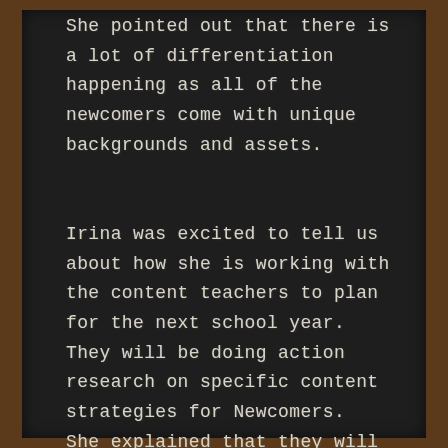She pointed out that there is a lot of differentiation happening as all of the newcomers come with unique backgrounds and assets.
Irina was excited to tell us about how she is working with the content teachers to plan for the next school year.  They will be doing action research on specific content strategies for Newcomers.   She explained that they will select a number of techniques, try them out, and then document and share what works for newcomers at different levels.  This will be great information for so many other teachers as well.